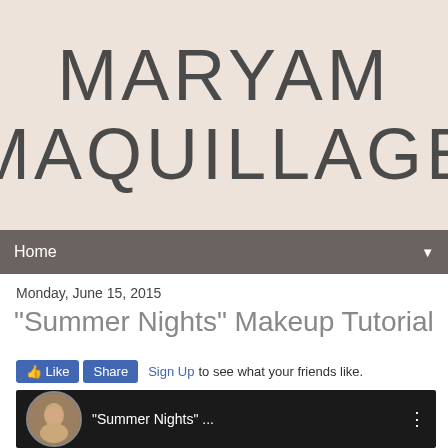MARYAM MAQUILLAGE
Home
Monday, June 15, 2015
"Summer Nights" Makeup Tutorial
Like   Share   Sign Up to see what your friends like.
[Figure (screenshot): Video thumbnail showing a woman and the title 'Summer Nights' ...]